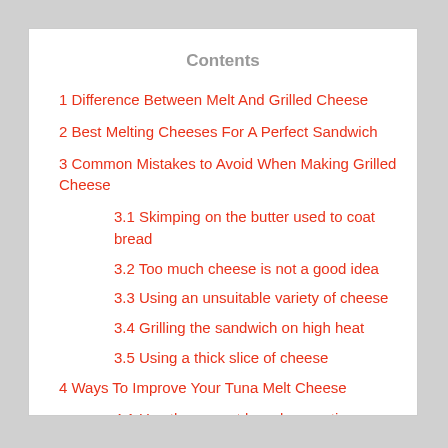Contents
1 Difference Between Melt And Grilled Cheese
2 Best Melting Cheeses For A Perfect Sandwich
3 Common Mistakes to Avoid When Making Grilled Cheese
3.1 Skimping on the butter used to coat bread
3.2 Too much cheese is not a good idea
3.3 Using an unsuitable variety of cheese
3.4 Grilling the sandwich on high heat
3.5 Using a thick slice of cheese
4 Ways To Improve Your Tuna Melt Cheese
4.1 Use the correct bread proportions